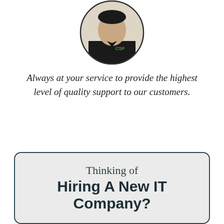[Figure (photo): Circular portrait photo of a man wearing a dark polo shirt with a company logo, positioned at the top center of the page.]
Always at your service to provide the highest level of quality support to our customers.
ANTHONY FIRTH
CLIENT ENGINEER
[Figure (logo): Green shield/leaf logo icon centered between two horizontal gold/yellow lines as a decorative divider.]
Thinking of Hiring A New IT Company?